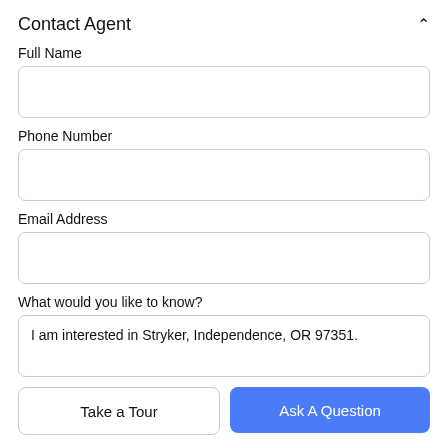Contact Agent
Full Name
[Figure (other): Empty text input field for Full Name]
Phone Number
[Figure (other): Empty text input field for Phone Number]
Email Address
[Figure (other): Empty text input field for Email Address]
What would you like to know?
[Figure (other): Text area with pre-filled text: I am interested in Stryker, Independence, OR 97351.]
Take a Tour
Ask A Question